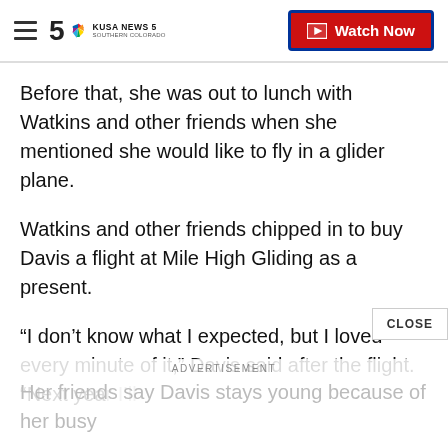KUSA NEWS 5 Southern Colorado — Watch Now
Before that, she was out to lunch with Watkins and other friends when she mentioned she would like to fly in a glider plane.
Watkins and other friends chipped in to buy Davis a flight at Mile High Gliding as a present.
“I don’t know what I expected, but I loved every minute of it,” Davis said after the flight. “Next year I’ll be back if I’m still around.”
Her friends say Davis stays young because of her busy